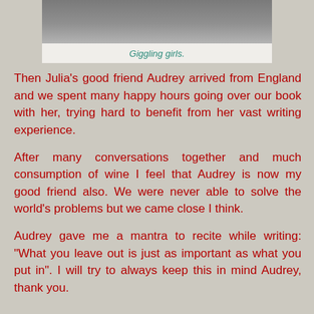[Figure (photo): Partial photo of girls at the top of the page, cropped — only the bottom edge is visible showing a grey/silver surface.]
Giggling girls.
Then Julia's good friend Audrey arrived from England and we spent many happy hours going over our book with her, trying hard to benefit from her vast writing experience.
After many conversations together and much consumption of wine I feel that Audrey is now my good friend also. We were never able to solve the world's problems but we came close I think.
Audrey gave me a mantra to recite while writing: "What you leave out is just as important as what you put in". I will try to always keep this in mind Audrey, thank you.